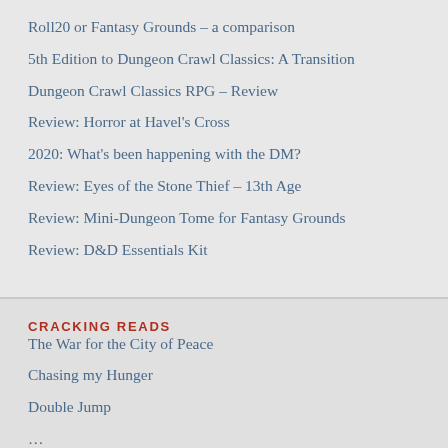Roll20 or Fantasy Grounds – a comparison
5th Edition to Dungeon Crawl Classics: A Transition
Dungeon Crawl Classics RPG – Review
Review: Horror at Havel's Cross
2020: What's been happening with the DM?
Review: Eyes of the Stone Thief – 13th Age
Review: Mini-Dungeon Tome for Fantasy Grounds
Review: D&D Essentials Kit
CRACKING READS
The War for the City of Peace
Chasing my Hunger
Double Jump
…